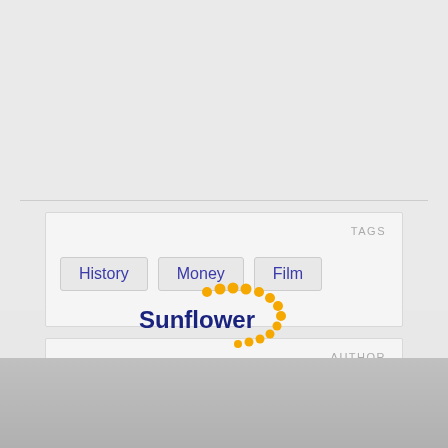TAGS
History
Money
Film
AUTHOR
Kampmann Ursula
[Figure (logo): Sunflower logo with orange dots arranged in a curved arc around the text 'Sunflower']